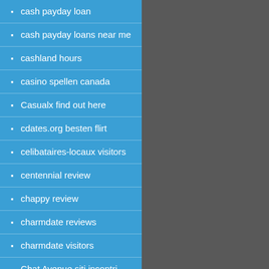cash payday loan
cash payday loans near me
cashland hours
casino spellen canada
Casualx find out here
cdates.org besten flirt
celibataires-locaux visitors
centennial review
chappy review
charmdate reviews
charmdate visitors
Chat Avenue siti incontri single
chat hour cs reviews